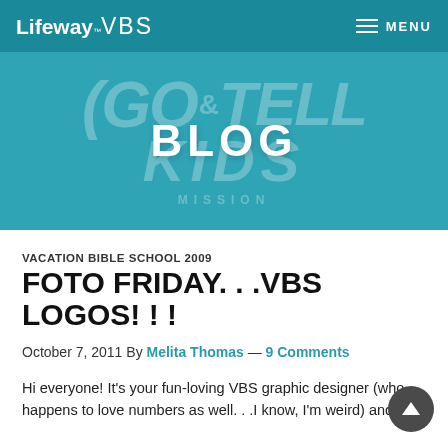Lifeway VBS — MENU
[Figure (screenshot): Hero banner with teal background showing 'Go & Tell Kids Mission' watermark text and 'BLOG' title in white bold letters]
VACATION BIBLE SCHOOL 2009
FOTO FRIDAY. . .VBS LOGOS! ! !
October 7, 2011 By Melita Thomas — 9 Comments
Hi everyone! It's your fun-loving VBS graphic designer (who happens to love numbers as well. . .I know, I'm weird) and it's